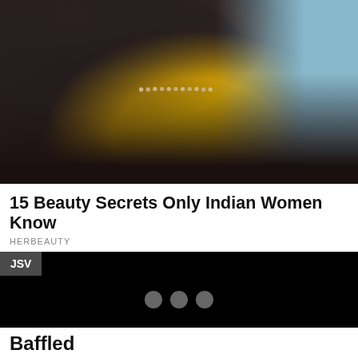[Figure (photo): Photo of an Indian woman wearing a yellow outfit, dark dupatta (head covering), jewelry including a necklace, with red lips, against a blue sky background]
15 Beauty Secrets Only Indian Women Know
HERBEAUTY
JSV
[Figure (screenshot): Black video loading screen with three grey loading dots in the center]
Baffled